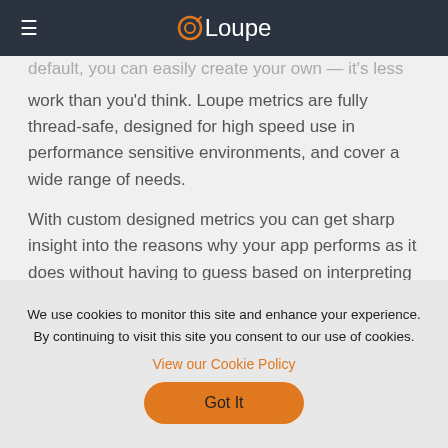Loupe
default, you can easily create your own — it's less work than you'd think. Loupe metrics are fully thread-safe, designed for high speed use in performance sensitive environments, and cover a wide range of needs.
With custom designed metrics you can get sharp insight into the reasons why your app performs as it does without having to guess based on interpreting generic data captured by the operating system.
You can record more than just how much or how
We use cookies to monitor this site and enhance your experience. By continuing to visit this site you consent to our use of cookies.
View our Cookie Policy
Got It